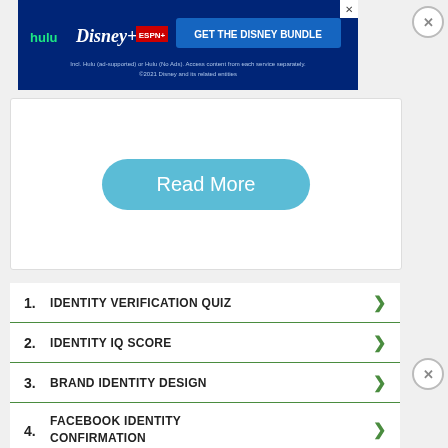[Figure (screenshot): Disney Bundle advertisement banner with Hulu, Disney+, ESPN+ logos and 'GET THE DISNEY BUNDLE' button]
more f...  ne
represe...
[Figure (screenshot): White card with 'Read More' button in teal/light blue color]
1.  IDENTITY VERIFICATION QUIZ
2.  IDENTITY IQ SCORE
3.  BRAND IDENTITY DESIGN
4.  FACEBOOK IDENTITY CONFIRMATION
[Figure (screenshot): Firestone Tire Offer ad with Virginia Tire & Auto of Ashburn, map icon, and ad controls]